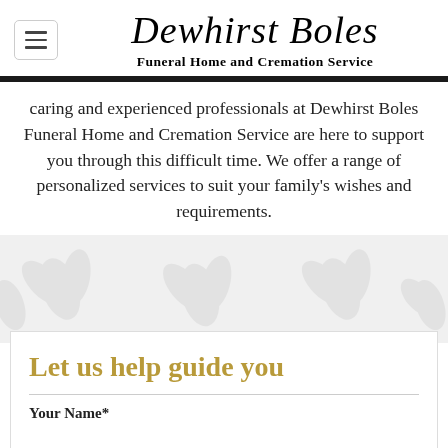Dewhirst Boles Funeral Home and Cremation Service
caring and experienced professionals at Dewhirst Boles Funeral Home and Cremation Service are here to support you through this difficult time. We offer a range of personalized services to suit your family's wishes and requirements.
[Figure (illustration): Light grey floral/lily decorative background pattern]
Let us help guide you
Your Name*